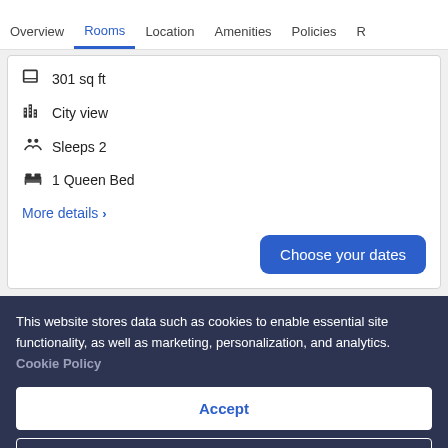Overview  Rooms  Location  Amenities  Policies  R
301 sq ft
City view
Sleeps 2
1 Queen Bed
More details >
Choose your dates
This website stores data such as cookies to enable essential site functionality, as well as marketing, personalization, and analytics. Cookie Policy
Accept
Deny